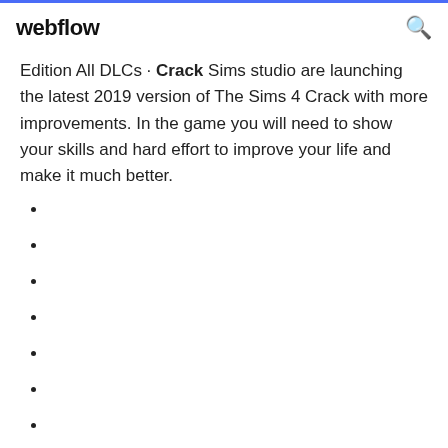webflow
Edition All DLCs · Crack Sims studio are launching the latest 2019 version of The Sims 4 Crack with more improvements. In the game you will need to show your skills and hard effort to improve your life and make it much better.